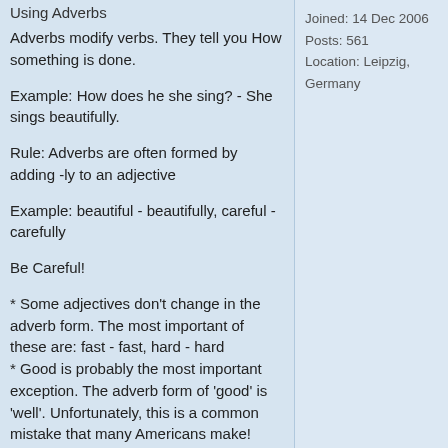Using Adverbs
Adverbs modify verbs. They tell you How something is done.
Example: How does he she sing? - She sings beautifully.
Rule: Adverbs are often formed by adding -ly to an adjective
Example: beautiful - beautifully, careful - carefully
Be Careful!
* Some adjectives don't change in the adverb form. The most important of these are: fast - fast, hard - hard
* Good is probably the most important exception. The adverb form of 'good' is 'well'. Unfortunately, this is a common mistake that many Americans make! (please don?t shoot me American forum users ; ) )
NOTI!: He plays tennis good.
Joined: 14 Dec 2006
Posts: 561
Location: Leipzig, Germany